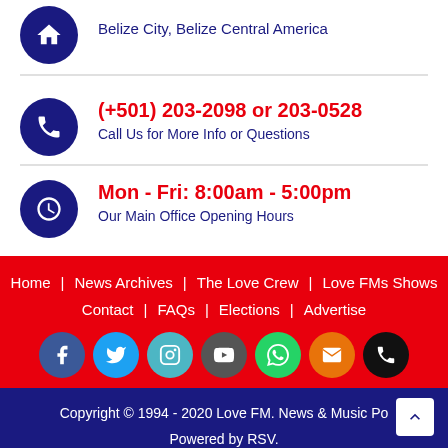[Figure (other): Home/address icon circle with house icon, partially visible at top]
Belize City, Belize Central America
[Figure (other): Phone icon in dark blue circle]
(+501) 203-2098 or 203-0528
Call Us for More Info or Questions
[Figure (other): Clock/time icon in dark blue circle]
Mon - Fri: 8:00am - 5:00pm
Our Main Office Opening Hours
Home | News Archives | The Love Crew | Love FMs Shows
Contact | FAQs | Elections | Advertise
[Figure (other): Social media icons row: Facebook, Twitter, Instagram, YouTube, WhatsApp, Email, Phone]
Copyright © 1994 - 2020 Love FM. News & Music Po
Powered by RSV.
s on Patrick Faber's unyielding position on social media p